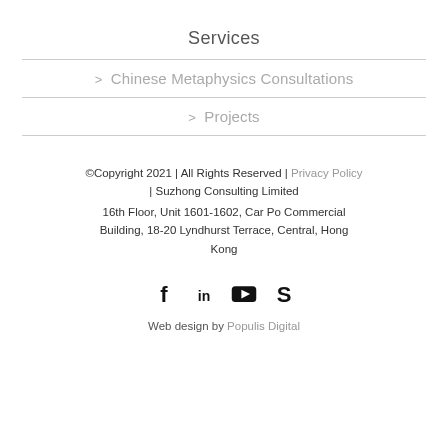Services
> Chinese Metaphysics Consultations
> Projects
©Copyright 2021 | All Rights Reserved | Privacy Policy | Suzhong Consulting Limited
16th Floor, Unit 1601-1602, Car Po Commercial Building, 18-20 Lyndhurst Terrace, Central, Hong Kong
[Figure (other): Social media icons: Facebook, LinkedIn, YouTube, Skype]
Web design by Populis Digital